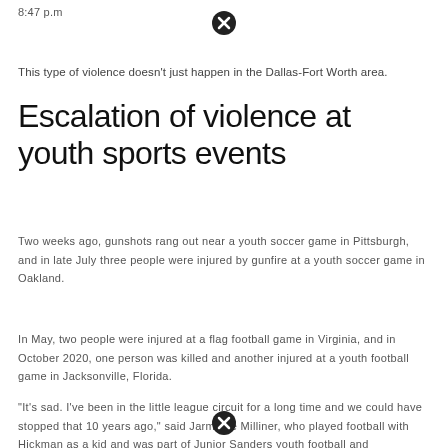8:47 p.m
This type of violence doesn't just happen in the Dallas-Fort Worth area.
Escalation of violence at youth sports events
Two weeks ago, gunshots rang out near a youth soccer game in Pittsburgh, and in late July three people were injured by gunfire at a youth soccer game in Oakland.
In May, two people were injured at a flag football game in Virginia, and in October 2020, one person was killed and another injured at a youth football game in Jacksonville, Florida.
"It's sad. I've been in the little league circuit for a long time and we could have stopped that 10 years ago," said Jarmaine Milliner, who played football with Hickman as a kid and was part of Junior Sanders youth football and